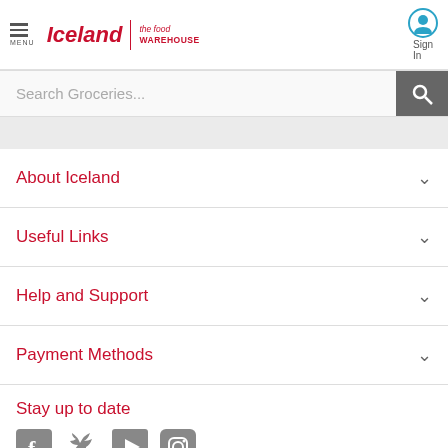Iceland | the food WAREHOUSE — MENU | Sign In | Search Groceries...
About Iceland
Useful Links
Help and Support
Payment Methods
Stay up to date
[Figure (other): Social media icons: Facebook, Twitter, YouTube, Instagram]